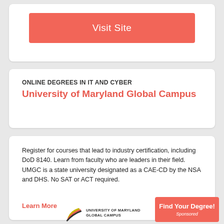Visit Site
ONLINE DEGREES IN IT AND CYBER
University of Maryland Global Campus
Register for courses that lead to industry certification, including DoD 8140. Learn from faculty who are leaders in their field. UMGC is a state university designated as a CAE-CD by the NSA and DHS. No SAT or ACT required.
Learn More
[Figure (logo): University of Maryland Global Campus logo with stylized globe/swoosh and text UNIVERSITY OF MARYLAND GLOBAL CAMPUS]
Find Your Degree! Sponsored